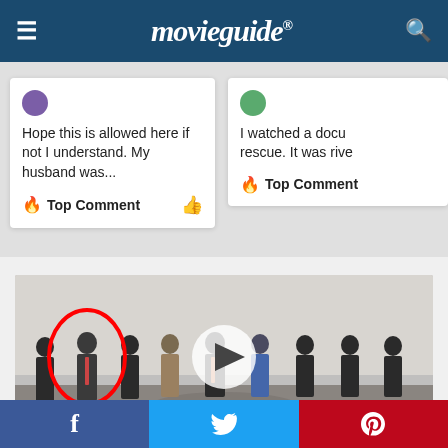movieguide®
Hope this is allowed here if not I understand. My husband was...
Top Comment
I watched a docu rescue. It was rive
Top Comment
[Figure (photo): Group photo of people standing in the CIA lobby, one person circled in red, with a play button overlay indicating a video thumbnail.]
The Biden Administration Is Hiding The...